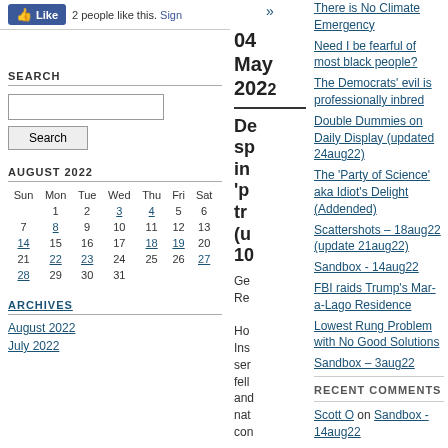[Figure (other): Facebook Like button showing '2 people like this. Sign' with blue thumbs up icon]
SEARCH
[Figure (other): Search input box and Search button]
AUGUST 2022
| Sun | Mon | Tue | Wed | Thu | Fri | Sat |
| --- | --- | --- | --- | --- | --- | --- |
|  | 1 | 2 | 3 | 4 | 5 | 6 |
| 7 | 8 | 9 | 10 | 11 | 12 | 13 |
| 14 | 15 | 16 | 17 | 18 | 19 | 20 |
| 21 | 22 | 23 | 24 | 25 | 26 | 27 |
| 28 | 29 | 30 | 31 |  |  |  |
ARCHIVES
August 2022
July 2022
04 May 2022
De sp in 'p tr (u 10
Ge Re Ho Ins ser fell and nat con
»
There is No Climate Emergency
Need I be fearful of most black people?
The Democrats' evil is professionally inbred
Double Dummies on Daily Display (updated 24aug22)
The 'Party of Science' aka Idiot's Delight (Addended)
Scattershots – 18aug22 (update 21aug22)
Sandbox - 14aug22
FBI raids Trump's Mar-a-Lago Residence
Lowest Rung Problem with No Good Solutions
Sandbox – 3aug22
RECENT COMMENTS
Scott O on Sandbox - 14aug22
Don Bessee on Sandbox - 14aug22
fish on Sandbox - 14aug22